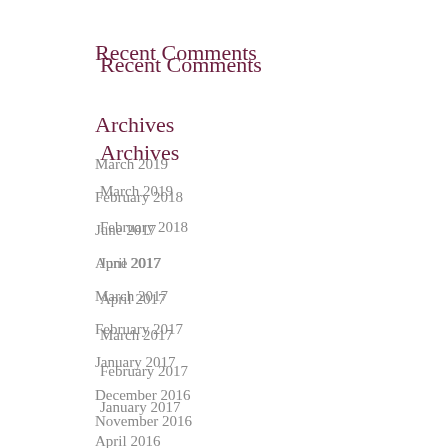Recent Comments
Archives
March 2019
February 2018
June 2017
April 2017
March 2017
February 2017
January 2017
December 2016
November 2016
April 2016